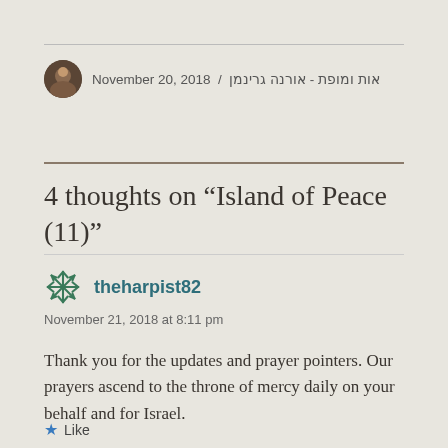אות ומופת - אורנה גרינמן / November 20, 2018
4 thoughts on “Island of Peace (11)”
theharpist82
November 21, 2018 at 8:11 pm
Thank you for the updates and prayer pointers. Our prayers ascend to the throne of mercy daily on your behalf and for Israel.
Like